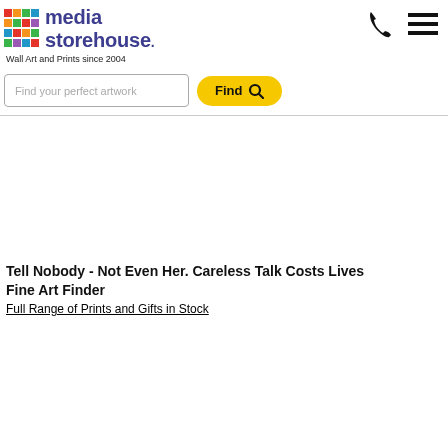media storehouse. Wall Art and Prints since 2004
[Figure (screenshot): Media Storehouse website screenshot with logo, search bar, phone icon, hamburger menu, and product listing for 'Tell Nobody - Not Even Her. Careless Talk Costs Lives Fine Art Finder']
Tell Nobody - Not Even Her. Careless Talk Costs Lives Fine Art Finder
Full Range of Prints and Gifts in Stock